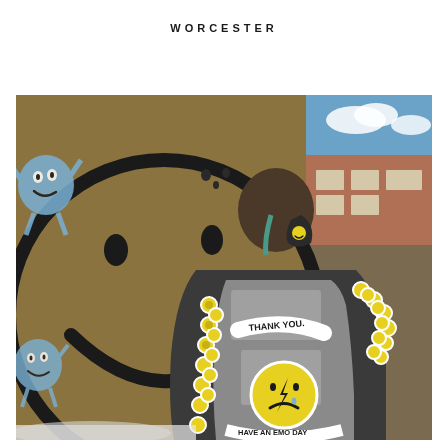WORCESTER
[Figure (photo): A person viewed from behind wearing a black jacket covered in yellow smiley face pins and buttons. The jacket has 'THANK YOU.' and 'HAVE AN EMO DAY' text with a sad smiley face on the back. The person also wears a smiley face mask. Behind them is a large graffiti mural of a yellow smiley face on a brown wall, with blue smiley face graffiti characters on the sides. Blue sky and brick building visible in the upper right.]